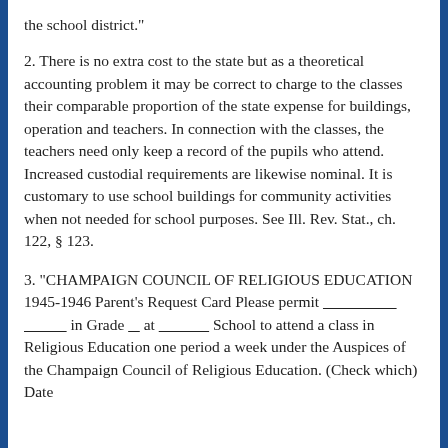the school district."
2. There is no extra cost to the state but as a theoretical accounting problem it may be correct to charge to the classes their comparable proportion of the state expense for buildings, operation and teachers. In connection with the classes, the teachers need only keep a record of the pupils who attend. Increased custodial requirements are likewise nominal. It is customary to use school buildings for community activities when not needed for school purposes. See Ill. Rev. Stat., ch. 122, § 123.
3. "CHAMPAIGN COUNCIL OF RELIGIOUS EDUCATION 1945-1946 Parent's Request Card Please permit ___________________ ___________ in Grade ___ at ______________ School to attend a class in Religious Education one period a week under the Auspices of the Champaign Council of Religious Education. (Check which) Date